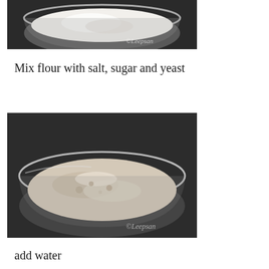[Figure (photo): A glass bowl filled with white flour, photographed from above on a dark background. Watermark reads ©Leepsan.]
Mix flour with salt, sugar and yeast
[Figure (photo): A glass bowl containing flour mixed with water, showing a wet crumbly mixture, photographed from above on a dark background. Watermark reads ©Leepsan.]
add water